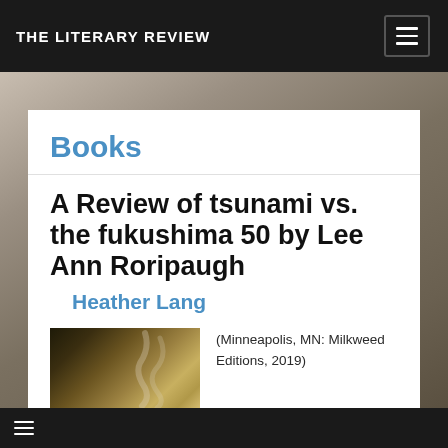THE LITERARY REVIEW
Books
A Review of tsunami vs. the fukushima 50 by Lee Ann Roripaugh
Heather Lang
[Figure (photo): Book cover image, partially visible, dark tones with gold decorative elements]
(Minneapolis, MN: Milkweed Editions, 2019)